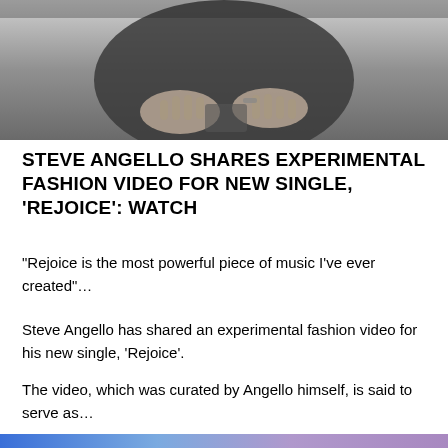[Figure (photo): Black and white photo of a person's hands and torso, appearing to hold something, shot from above]
STEVE ANGELLO SHARES EXPERIMENTAL FASHION VIDEO FOR NEW SINGLE, 'REJOICE': WATCH
“Rejoice is the most powerful piece of music I’ve ever created”…
Steve Angello has shared an experimental fashion video for his new single, ‘Rejoice’.
The video, which was curated by Angello himself, is said to serve as…